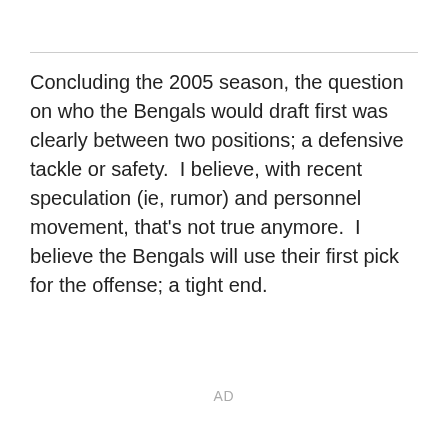Concluding the 2005 season, the question on who the Bengals would draft first was clearly between two positions; a defensive tackle or safety.  I believe, with recent speculation (ie, rumor) and personnel movement, that's not true anymore.  I believe the Bengals will use their first pick for the offense; a tight end.
AD